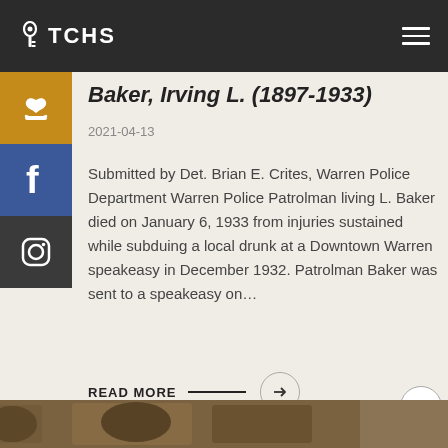TCHS
Baker, Irving L. (1897-1933)
2021-04-13
Submitted by Det. Brian E. Crites, Warren Police Department Warren Police Patrolman living L. Baker died on January 6, 1933 from injuries sustained while subduing a local drunk at a Downtown Warren speakeasy in December 1932. Patrolman Baker was sent to a speakeasy on...
READ MORE